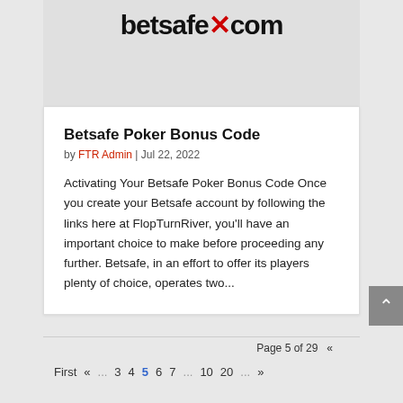[Figure (logo): Betsafe.com logo with red X]
Betsafe Poker Bonus Code
by FTR Admin | Jul 22, 2022
Activating Your Betsafe Poker Bonus Code Once you create your Betsafe account by following the links here at FlopTurnRiver, you'll have an important choice to make before proceeding any further. Betsafe, in an effort to offer its players plenty of choice, operates two...
Page 5 of 29  «  First « ... 3 4 5 6 7 ... 10 20 ... »